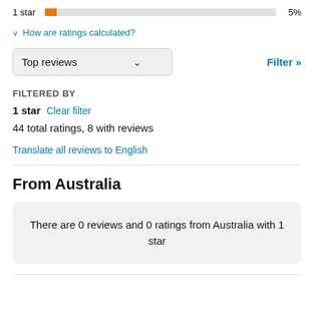1 star  5%
∨ How are ratings calculated?
Top reviews  ∨
Filter »
FILTERED BY
1 star  Clear filter
44 total ratings, 8 with reviews
Translate all reviews to English
From Australia
There are 0 reviews and 0 ratings from Australia with 1 star